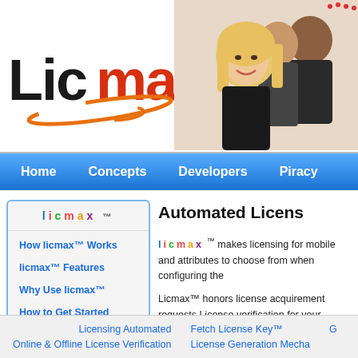[Figure (logo): Licmax logo with stylized text and orange swirl]
[Figure (photo): Group of smiling people, woman in foreground with blonde hair]
Home  Concepts  Developers  Piracy
l i c m a x ™
How licmax™ Works
licmax™ Features
Why Use licmax™
How to Get Started
Licensing Cost
FAQ
Forums & Blogs
Automated Licens
l i c m a x ™ makes licensing for mobile and attributes to choose from when configuring the
Licmax™ honors license acquirement requests License verification for your application can be disconnected, you can choose to let licmax™ g
Licensing Automated  Fetch License Key™  Online & Offline License Verification  License Generation Mecha